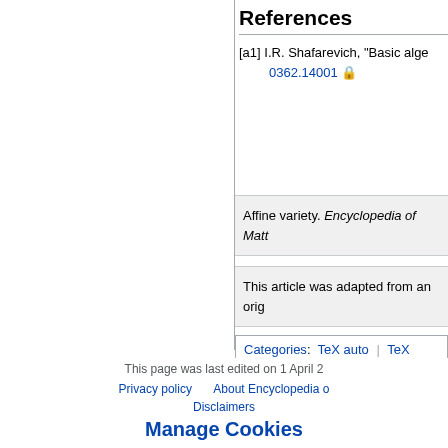References
[a1] I.R. Shafarevich, "Basic alge... 0362.14001 🔒
Affine variety. Encyclopedia of Math...
This article was adapted from an orig...
Categories: TeX auto | TeX done...
This page was last edited on 1 April 2...
Privacy policy   About Encyclopedia o...
Disclaimers
Manage Cookies